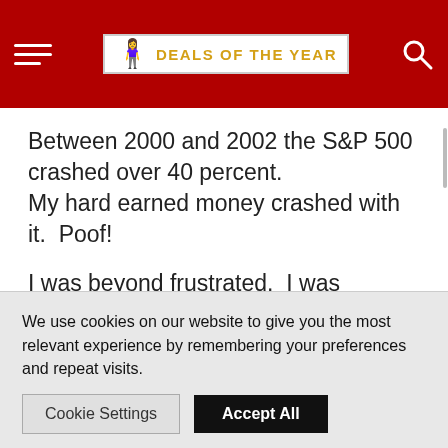DEALS OF THE YEAR
Between 2000 and 2002 the S&P 500 crashed over 40 percent.
My hard earned money crashed with it.  Poof!
I was beyond frustrated.  I was demoralized.  The school of hard knocks taught me a very expensive lesson…
We use cookies on our website to give you the most relevant experience by remembering your preferences and repeat visits.